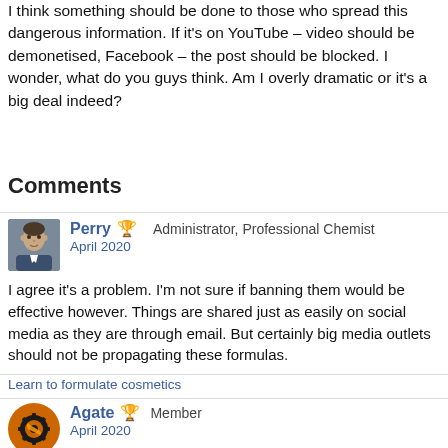I think something should be done to those who spread this dangerous information. If it's on YouTube – video should be demonetised, Facebook – the post should be blocked. I wonder, what do you guys think. Am I overly dramatic or it's a big deal indeed?
Comments
Perry  Administrator, Professional Chemist
April 2020
I agree it's a problem. I'm not sure if banning them would be effective however. Things are shared just as easily on social media as they are through email. But certainly big media outlets should not be propagating these formulas.
Learn to formulate cosmetics
Agate  Member
April 2020